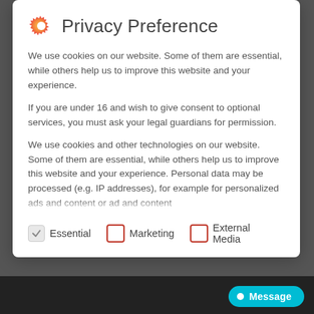Privacy Preference
We use cookies on our website. Some of them are essential, while others help us to improve this website and your experience.
If you are under 16 and wish to give consent to optional services, you must ask your legal guardians for permission.
We use cookies and other technologies on our website. Some of them are essential, while others help us to improve this website and your experience. Personal data may be processed (e.g. IP addresses), for example for personalized ads and content or ad and content
Essential
Marketing
External Media